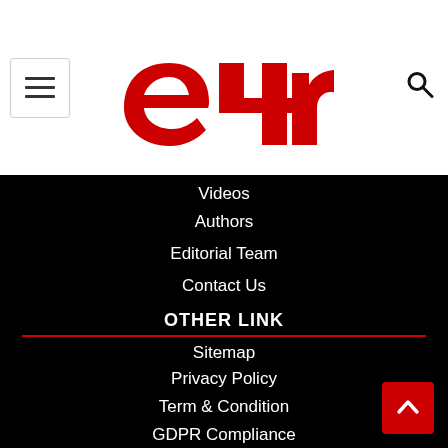[Figure (logo): e4m logo in red with hamburger menu icon on left and search icon on right]
Videos
Authors
Editorial Team
Contact Us
OTHER LINK
Sitemap
Privacy Policy
Term & Condition
GDPR Compliance
Cookie Policy
Corrections Policy
Ethics Policy